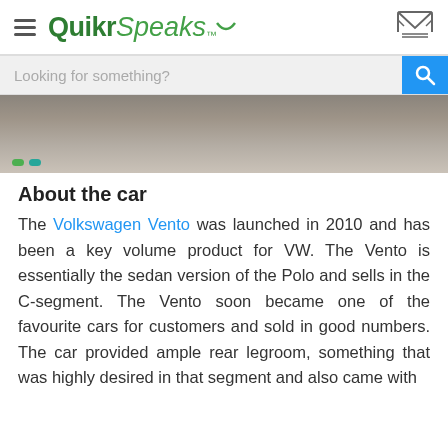QuikrSpeaks
[Figure (photo): Partial view of a car (Volkswagen Vento) from above/side angle on a concrete surface, with green and teal navigation dots at bottom left]
About the car
The Volkswagen Vento was launched in 2010 and has been a key volume product for VW. The Vento is essentially the sedan version of the Polo and sells in the C-segment. The Vento soon became one of the favourite cars for customers and sold in good numbers. The car provided ample rear legroom, something that was highly desired in that segment and also came with